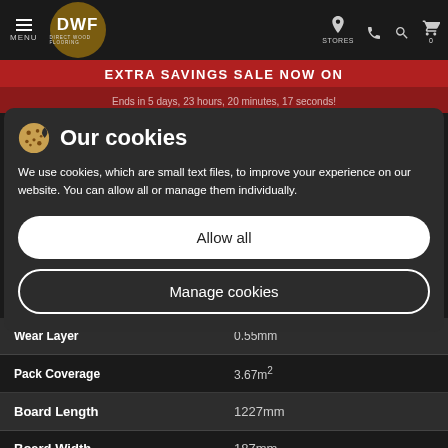DWF Direct Wood Flooring — MENU | STORES
EXTRA SAVINGS SALE NOW ON
Ends in 5 days, 23 hours, 20 minutes, 17 seconds!
Our cookies
We use cookies, which are small text files, to improve your experience on our website. You can allow all or manage them individually.
Allow all
Manage cookies
SPECIFICATIONS
| Specification | Value |
| --- | --- |
| Wear Layer | 0.55mm |
| Pack Coverage | 3.67m² |
| Board Length | 1227mm |
| Board Width | 187mm |